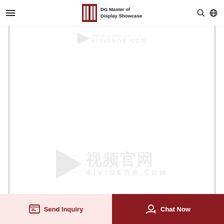DG Master of Display Showcase
[Figure (other): Content area with two watermarks showing a play button triangle, Chinese text, and 'AIVIDEOB.COM'. Top watermark is small and faded, bottom watermark is larger with Chinese characters for 'video official website' (视频官网) and AIVIDEOB.COM logo.]
Send Inquiry
Chat Now